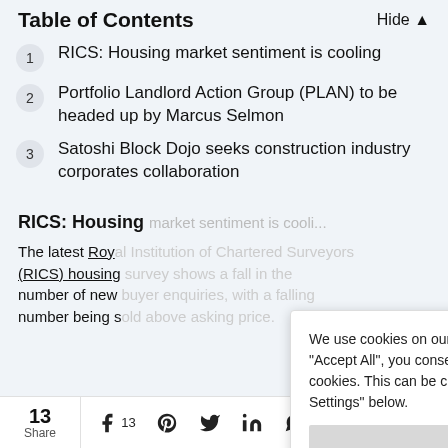Table of Contents   Hide
1  RICS: Housing market sentiment is cooling
2  Portfolio Landlord Action Group (PLAN) to be headed up by Marcus Selmon
3  Satoshi Block Dojo seeks construction industry corporates collaboration
RICS: Housing market sentiment is cooling
The latest Roy... (RICS) housing... number of new... number being s...
We use cookies on our website, by clicking "Accept All", you consent to the use of ALL cookies. This can be changed by visiting "Cookie Settings" below.
13 Share  [Facebook] 13  [Pinterest]  [Twitter]  [LinkedIn]  [WhatsApp]  [Messenger]  [Reddit]  [Email]